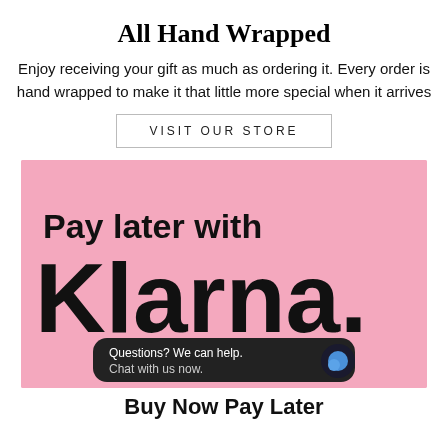All Hand Wrapped
Enjoy receiving your gift as much as ordering it. Every order is hand wrapped to make it that little more special when it arrives
VISIT OUR STORE
[Figure (infographic): Pink Klarna banner with text 'Pay later with Klarna.' and a dark chat bubble overlay saying 'Questions? We can help. Chat with us now.']
Buy Now Pay Later